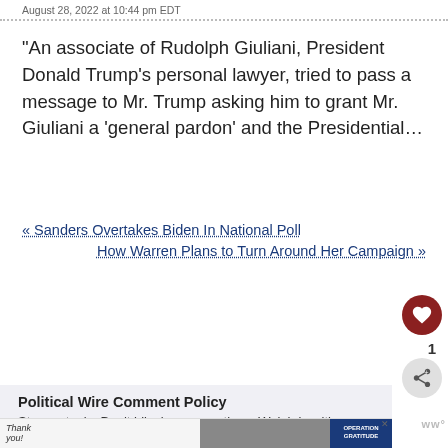August 28, 2022 at 10:44 pm EDT
“An associate of Rudolph Giuliani, President Donald Trump’s personal lawyer, tried to pass a message to Mr. Trump asking him to grant Mr. Giuliani a ‘general pardon’ and the Presidential…
« Sanders Overtakes Biden In National Poll
How Warren Plans to Turn Around Her Campaign »
Political Wire Comment Policy
Stay on topic. Don’t hijack conversations. Weigh in with informed ideas that contribute to the